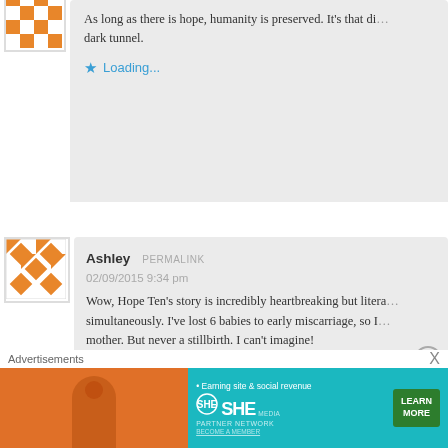[Figure (illustration): Quilt-pattern avatar icon with orange geometric tiles on white background, partial top cut off]
As long as there is hope, humanity is preserved. It's that di... dark tunnel.
Loading...
[Figure (illustration): Quilt-pattern avatar icon with orange and white geometric diamond/triangle tiles]
Ashley PERMALINK
02/09/2015 9:34 pm
Wow, Hope Ten's story is incredibly heartbreaking but litera... simultaneously. I've lost 6 babies to early miscarriage, so I... mother. But never a stillbirth. I can't imagine!
Loading...
Advertisements
[Figure (infographic): SHE Partner Network advertisement banner: teal and orange background, woman photo, text 'Earning site & social revenue', SHE logo, LEARN MORE button, BECOME A MEMBER link]